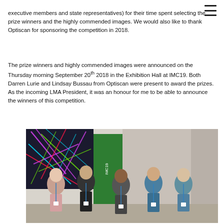executive members and state representatives) for their time spent selecting the prize winners and the highly commended images. We would also like to thank Optiscan for sponsoring the competition in 2018.
The prize winners and highly commended images were announced on the Thursday morning September 20th 2018 in the Exhibition Hall at IMC19. Both Darren Lurie and Lindsay Bussau from Optiscan were present to award the prizes. As the incoming LMA President, it was an honour for me to be able to announce the winners of this competition.
[Figure (photo): Group photo of five people standing in front of a conference exhibition booth with an IMC19 banner and a microscopy image display. They are wearing conference lanyards/badges.]